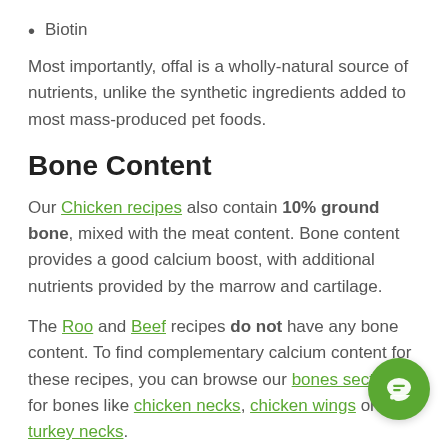Biotin
Most importantly, offal is a wholly-natural source of nutrients, unlike the synthetic ingredients added to most mass-produced pet foods.
Bone Content
Our Chicken recipes also contain 10% ground bone, mixed with the meat content. Bone content provides a good calcium boost, with additional nutrients provided by the marrow and cartilage.
The Roo and Beef recipes do not have any bone content. To find complementary calcium content for these recipes, you can browse our bones section for bones like chicken necks, chicken wings or turkey necks.